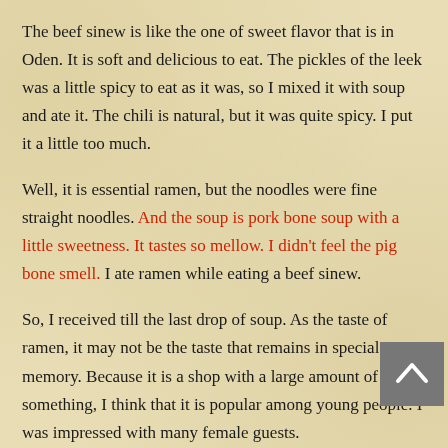The beef sinew is like the one of sweet flavor that is in Oden. It is soft and delicious to eat. The pickles of the leek was a little spicy to eat as it was, so I mixed it with soup and ate it. The chili is natural, but it was quite spicy. I put it a little too much.
Well, it is essential ramen, but the noodles were fine straight noodles. And the soup is pork bone soup with a little sweetness. It tastes so mellow. I didn't feel the pig bone smell. I ate ramen while eating a beef sinew.
So, I received till the last drop of soup. As the taste of ramen, it may not be the taste that remains in special memory. Because it is a shop with a large amount of something, I think that it is popular among young people. I was impressed with many female guests.
When I finished eating, it was just lunchtime, and when I left